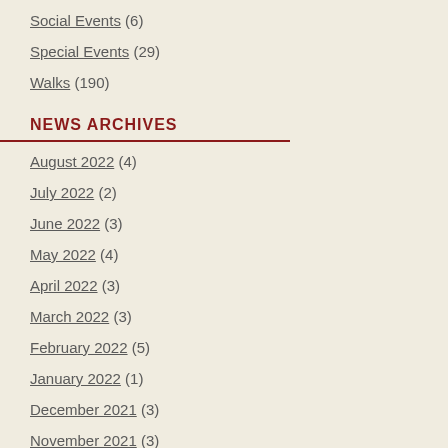Social Events (6)
Special Events (29)
Walks (190)
NEWS ARCHIVES
August 2022 (4)
July 2022 (2)
June 2022 (3)
May 2022 (4)
April 2022 (3)
March 2022 (3)
February 2022 (5)
January 2022 (1)
December 2021 (3)
November 2021 (3)
October 2021 (6)
September 2021 (7)